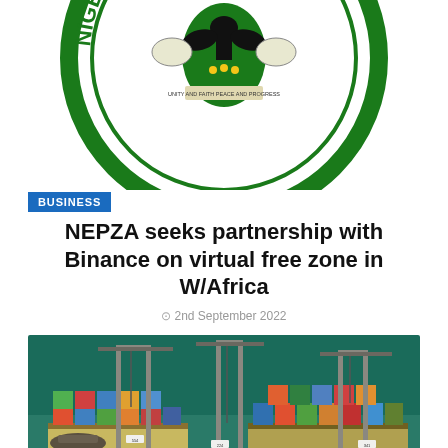[Figure (logo): Nigerian Export Processing Zones Authority (NEPZA) circular logo — green circle with a coat of arms in the center, text around the border on a white background, partially cropped at top]
BUSINESS
NEPZA seeks partnership with Binance on virtual free zone in W/Africa
2nd September 2022
[Figure (photo): Aerial view of a busy container port with large cranes, colourful shipping containers stacked on vessels, and green water in the background]